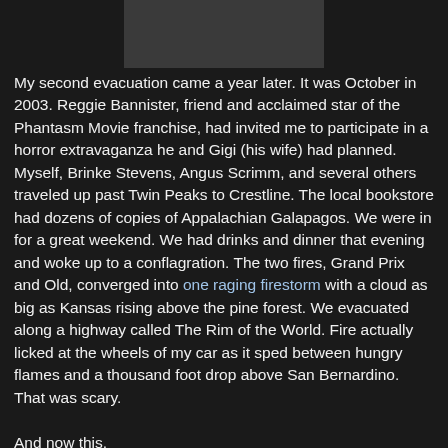[Figure (photo): Gray rectangular image placeholder at the top center of the page]
My second evacuation came a year later. It was October in 2003. Reggie Bannister, friend and acclaimed star of the Phantasm Movie franchise, had invited me to participate in a horror extravaganza he and Gigi (his wife) had planned. Myself, Brinke Stevens, Angus Scrimm, and several others traveled up past Twin Peaks to Crestline. The local bookstore had dozens of copies of Appalachian Galapagos. We were in for a great weekend. We had drinks and dinner that evening and woke up to a conflagration. The two fires, Grand Prix and Old, converged into one raging firestorm with a cloud as big as Kansas rising above the pine forest. We evacuated along a highway called The Rim of the World. Fire actually licked at the wheels of my car as it sped between hungry flames and a thousand foot drop above San Bernardino. That was scary.

And now this.

The Monument Fire.